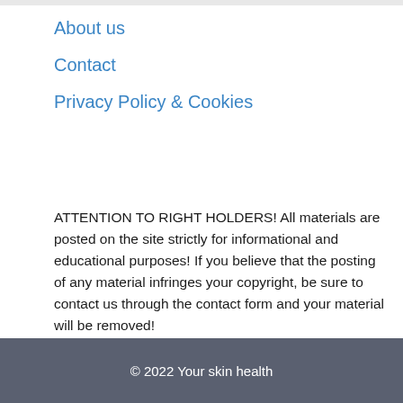About us
Contact
Privacy Policy & Cookies
ATTENTION TO RIGHT HOLDERS! All materials are posted on the site strictly for informational and educational purposes! If you believe that the posting of any material infringes your copyright, be sure to contact us through the contact form and your material will be removed!
© 2022 Your skin health